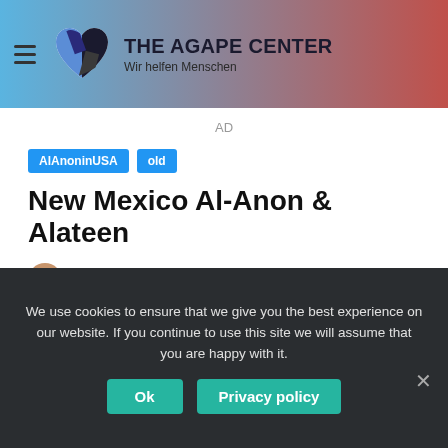THE AGAPE CENTER — Wir helfen Menschen
AD
AlAnoninUSA
old
New Mexico Al-Anon & Alateen
Jeremy Stumpf  Last Updated: September 24, 2020  4 minutes read
We use cookies to ensure that we give you the best experience on our website. If you continue to use this site we will assume that you are happy with it.